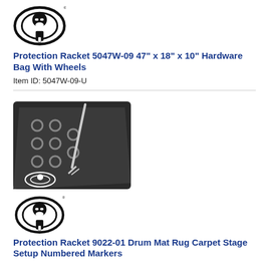[Figure (logo): Protection Racket circular logo with figure wearing sunglasses]
Protection Racket 5047W-09 47" x 18" x 10" Hardware Bag With Wheels
Item ID: 5047W-09-U
[Figure (photo): Photo of drum mat rug carpet with numbered markers and hardware holes, Protection Racket logo visible]
[Figure (logo): Protection Racket circular logo with figure wearing sunglasses]
Protection Racket 9022-01 Drum Mat Rug Carpet Stage Setup Numbered Markers